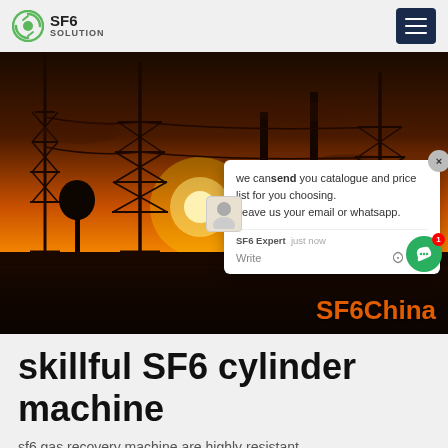SF6 SOLUTION
[Figure (photo): Electrical substation at sunset with power transmission towers silhouetted against an orange sky. A chat popup overlay appears on the right side reading: 'we can send you catalogue and price list for you choosing. Leave us your email or whatsapp.' with SF6 Expert avatar. SF6China branding text visible at bottom right.]
skillful SF6 cylinder machine
sf6 gas recovery machine are highly resistant